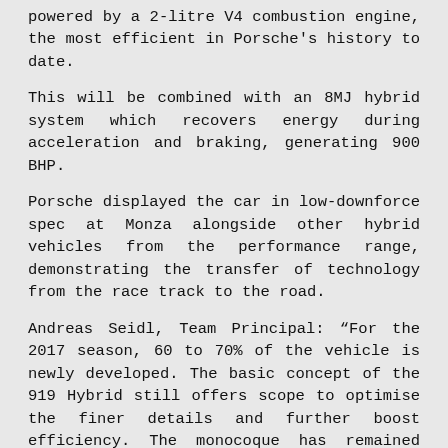powered by a 2-litre V4 combustion engine, the most efficient in Porsche's history to date.
This will be combined with an 8MJ hybrid system which recovers energy during acceleration and braking, generating 900 BHP.
Porsche displayed the car in low-downforce spec at Monza alongside other hybrid vehicles from the performance range, demonstrating the transfer of technology from the race track to the road.
Andreas Seidl, Team Principal: “For the 2017 season, 60 to 70% of the vehicle is newly developed. The basic concept of the 919 Hybrid still offers scope to optimise the finer details and further boost efficiency. The monocoque has remained unchanged since 2016, but the optimisation potential of all other components was analysed and, in most cases, adjustments made accordingly.”